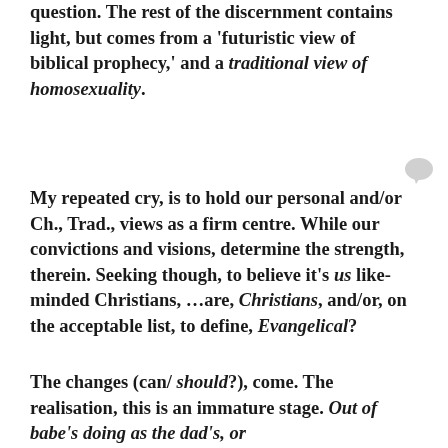question. The rest of the discernment contains light, but comes from a 'futuristic view of biblical prophecy,' and a traditional view of homosexuality.
My repeated cry, is to hold our personal and/or Ch., Trad., views as a firm centre. While our convictions and visions, determine the strength, therein. Seeking though, to believe it's us like-minded Christians, …are, Christians, and/or, on the acceptable list, to define, Evangelical?
The changes (can/ should?), come. The realisation, this is an immature stage. Out of babe's doing as the dad's, or